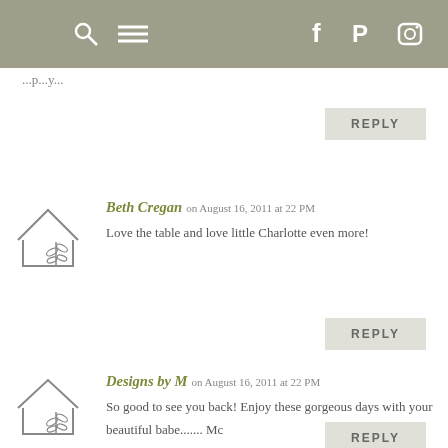Navigation bar with search, menu, facebook, pinterest, instagram icons
...partial text (cut off from previous comment)
REPLY
Beth Cregan on August 16, 2011 at 22 PM
Love the table and love little Charlotte even more!
REPLY
Designs by M on August 16, 2011 at 22 PM
So good to see you back! Enjoy these gorgeous days with your beautiful babe....... Mc
REPLY